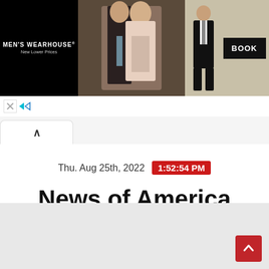[Figure (screenshot): Men's Wearhouse advertisement banner showing a couple in formal wear, a man in a tuxedo on the right side, and a BOOK button on black background]
[Figure (screenshot): Browser tab row with an active white tab showing an up-chevron (^) icon]
Thu. Aug 25th, 2022  1:52:54 PM
News of America